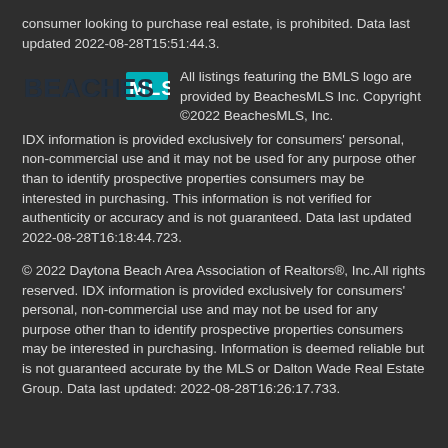consumer looking to purchase real estate, is prohibited. Data last updated 2022-08-28T15:51:44.3.
[Figure (logo): BeachesMLS logo — bold text reading BEACHES in dark color and MLS in a teal/cyan box]
All listings featuring the BMLS logo are provided by BeachesMLS Inc. Copyright ©2022 BeachesMLS, Inc. IDX information is provided exclusively for consumers' personal, non-commercial use and it may not be used for any purpose other than to identify prospective properties consumers may be interested in purchasing. This information is not verified for authenticity or accuracy and is not guaranteed. Data last updated 2022-08-28T16:18:44.723.
© 2022 Daytona Beach Area Association of Realtors®, Inc.All rights reserved. IDX information is provided exclusively for consumers' personal, non-commercial use and may not be used for any purpose other than to identify prospective properties consumers may be interested in purchasing. Information is deemed reliable but is not guaranteed accurate by the MLS or Dalton Wade Real Estate Group. Data last updated: 2022-08-28T16:26:17.733.